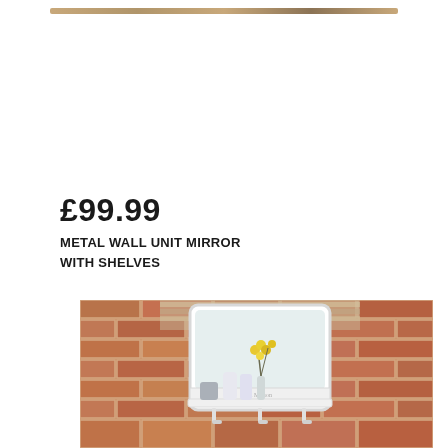£99.99
METAL WALL UNIT MIRROR WITH SHELVES
[Figure (photo): A white metal wall unit mirror with shelves and hooks, mounted on a red brick wall. The shelf holds a grey fabric item, white bottles, and a yellow flower in a vase.]